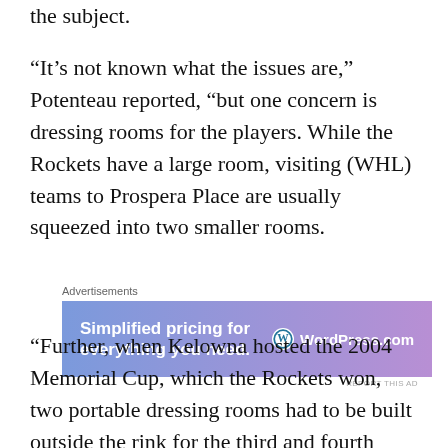the subject.
“It’s not known what the issues are,” Potenteau reported, “but one concern is dressing rooms for the players. While the Rockets have a large room, visiting (WHL) teams to Prospera Place are usually squeezed into two smaller rooms.
[Figure (other): WordPress.com advertisement banner: 'Simplified pricing for everything you need.' with WordPress.com logo on gradient blue-purple background.]
“Further, when Kelowna hosted the 2004 Memorial Cup, which the Rockets won, two portable dressing rooms had to be built outside the rink for the third and fourth teams, which